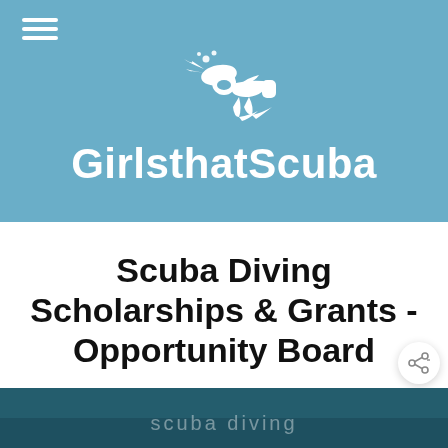[Figure (logo): GirlsthatScuba logo: white silhouette of a scuba diver swimming with bubbles above, and the brand name 'GirlsthatScuba' in white bold text, on a steel blue background. A hamburger menu icon is in the top-left corner.]
Scuba Diving Scholarships & Grants - Opportunity Board
[Figure (photo): Partial bottom image showing dark teal/ocean-toned background with partially visible light-colored text.]